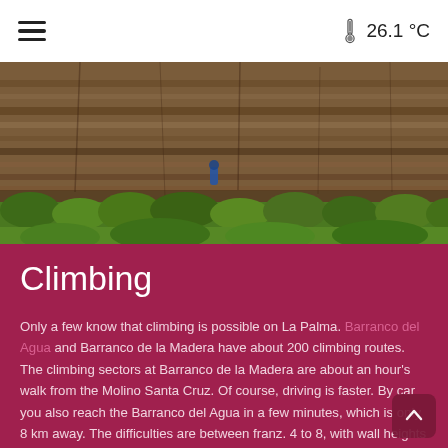☰  26.1 °C
[Figure (photo): Rock cliff face with layered volcanic stone and green shrubs/vegetation at the base, outdoor climbing location on La Palma island]
Climbing
Only a few know that climbing is possible on La Palma. Barranco del Agua and Barranco de la Madera have about 200 climbing routes. The climbing sectors at Barranco de la Madera are about an hour's walk from the Molino Santa Cruz. Of course, driving is faster. By car you also reach the Barranco del Agua in a few minutes, which is only 8 km away. The difficulties are between franz. 4 to 8, with wall heights of